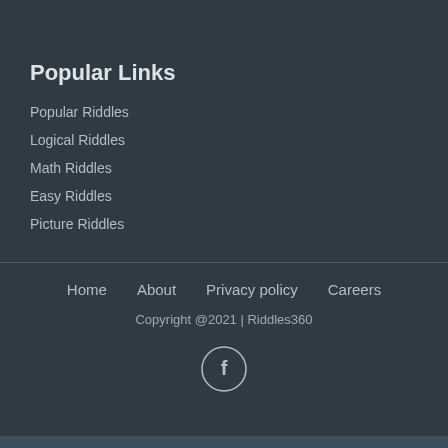Popular Links
Popular Riddles
Logical Riddles
Math Riddles
Easy Riddles
Picture Riddles
Home  About  Privacy policy  Careers
Copyright @2021 | Riddles360